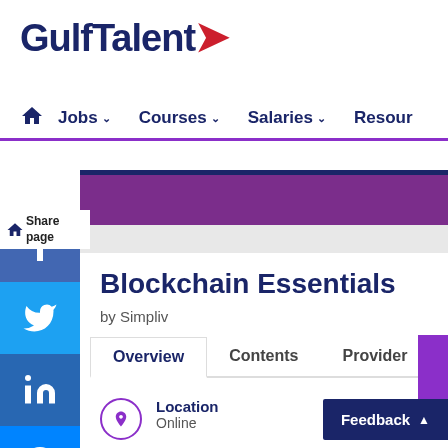[Figure (logo): GulfTalent logo with dark blue text and red accent mark]
Jobs  Courses  Salaries  Resources
Blockchain Essentials
by Simpliv
Overview  Contents  Provider
Location
Online
Feedback